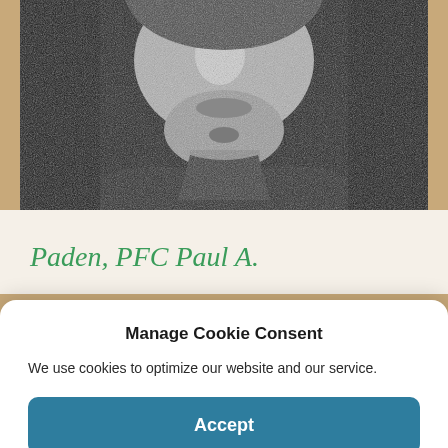[Figure (photo): Black and white close-up photograph of a person's face, likely a military portrait, cropped to show lower face, neck and uniform collar]
Paden, PFC Paul A.
Manage Cookie Consent
We use cookies to optimize our website and our service.
Accept
Cookie Policy   Privacy Policy